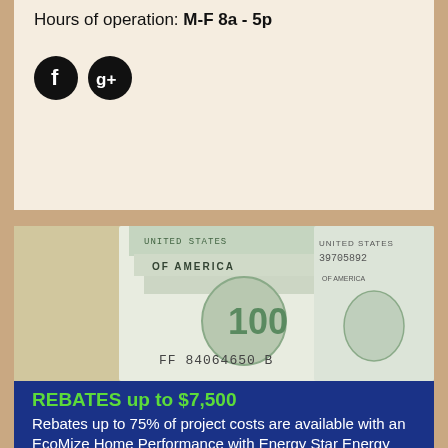Hours of operation: M-F 8a - 5p
[Figure (illustration): Two black circular social media icons: Facebook (f) and Google+ (g+)]
[Figure (photo): Close-up photo of US $100 dollar bills, showing serial number FF84064650B and United States of America text]
REBATES up to $7,500
Rebates up to 75% of project costs are available with an EcoMize Home Performance with Energy Star Energy